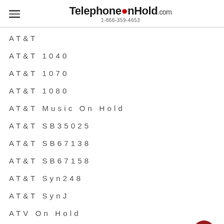TelephoneOnHold.com 1-866-359-4653
AT&T
AT&T 1040
AT&T 1070
AT&T 1080
AT&T Music On Hold
AT&T SB35025
AT&T SB67138
AT&T SB67158
AT&T Syn248
AT&T SynJ
ATV On Hold
Audio Branding